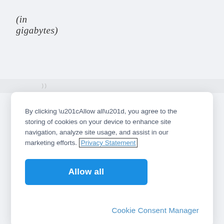(in gigabytes)
[Figure (screenshot): Cookie consent modal dialog with text, Privacy Statement link in a box, Allow all button, and Cookie Consent Manager link]
By clicking “Allow all”, you agree to the storing of cookies on your device to enhance site navigation, analyze site usage, and assist in our marketing efforts. Privacy Statement
Allow all
Cookie Consent Manager